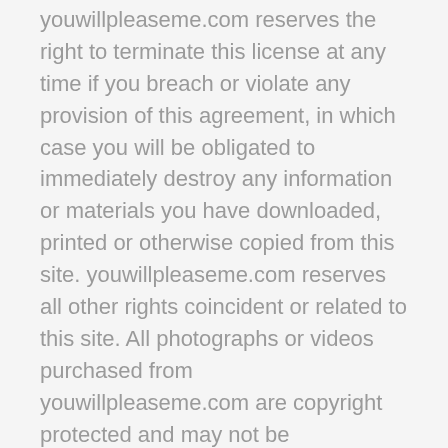youwillpleaseme.com reserves the right to terminate this license at any time if you breach or violate any provision of this agreement, in which case you will be obligated to immediately destroy any information or materials you have downloaded, printed or otherwise copied from this site. youwillpleaseme.com reserves all other rights coincident or related to this site. All photographs or videos purchased from youwillpleaseme.com are copyright protected and may not be reproduced, reprinted, electronically scanned or posted, used for advertising or any other purpose without the written permission of youwillpleaseme.com. Selling, reselling and/or trading these items through personal transactions, on eBay or other auction venues is going against copyright policies and in